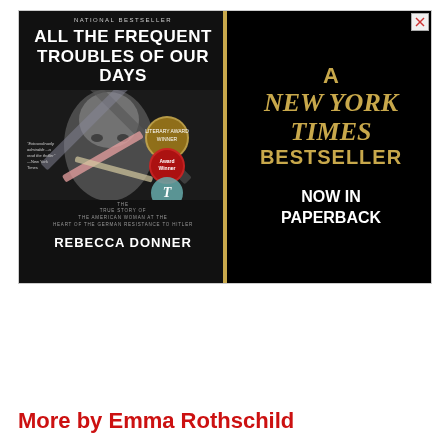[Figure (illustration): Book advertisement banner for 'All the Frequent Troubles of Our Days' by Rebecca Donner. Left side shows the book cover with a woman's face, award badges, and collageed papers. Right side on black background shows 'A NEW YORK TIMES BESTSELLER — NOW IN PAPERBACK' in gold and white text. National Bestseller noted at top of book cover.]
More by Emma Rothschild